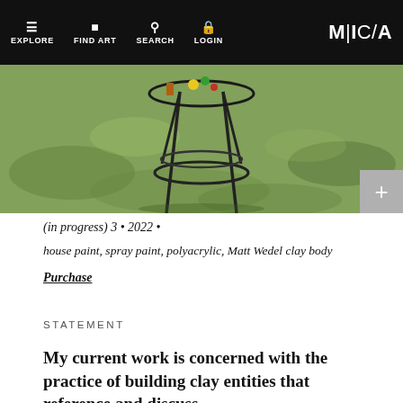EXPLORE | FIND ART | SEARCH | LOGIN | MICA
[Figure (photo): Outdoor photo showing a metal stool or stand on grass with paint cans or art supplies nearby, taken from above]
(in progress) 3 • 2022 •
house paint, spray paint, polyacrylic, Matt Wedel clay body
Purchase
STATEMENT
My current work is concerned with the practice of building clay entities that reference and discuss